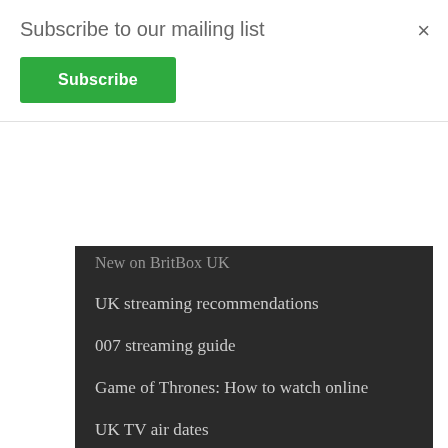Subscribe to our mailing list
Subscribe
×
New on BritBox UK
UK streaming recommendations
007 streaming guide
Game of Thrones: How to watch online
UK TV air dates
UK TV: This month's highlights
UK VOD releases